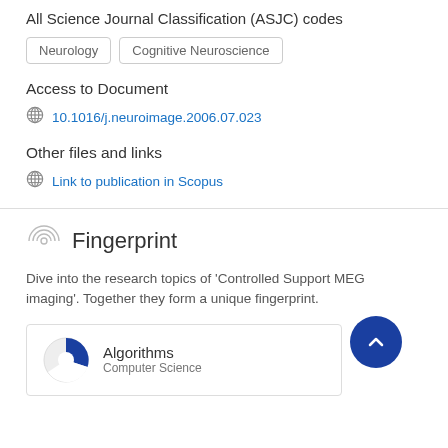All Science Journal Classification (ASJC) codes
Neurology
Cognitive Neuroscience
Access to Document
10.1016/j.neuroimage.2006.07.023
Other files and links
Link to publication in Scopus
Fingerprint
Dive into the research topics of 'Controlled Support MEG imaging'. Together they form a unique fingerprint.
Algorithms
Computer Science